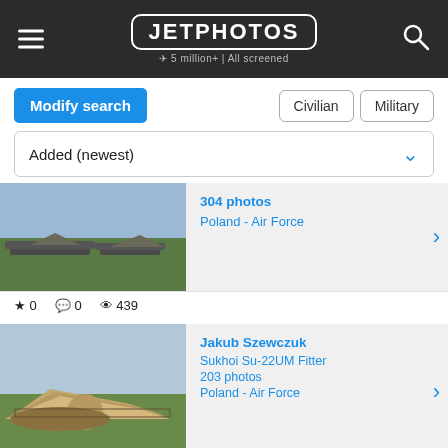JETPHOTOS — 5 million+ | All screened
Modify search | Civilian | Military
Added (newest)
[Figure (photo): Military aircraft parked on grass at an airfield]
304 photos
Poland - Air Force
★ 0  💬 0  👁 439
[Figure (photo): Sukhoi Su-22UM Fitter aircraft on grass, desert camouflage scheme]
Jakub Szewczuk
Sukhoi Su-22UM Fitter
203 photos
Poland - Air Force
★ 2  💬 0  👁 677
[Figure (photo): Partial view of another aircraft photo]
Witold Ozimek